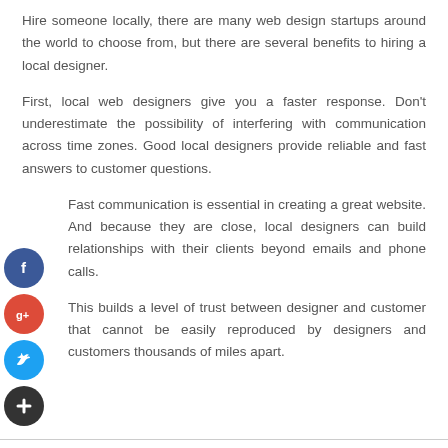Hire someone locally, there are many web design startups around the world to choose from, but there are several benefits to hiring a local designer.
First, local web designers give you a faster response. Don’t underestimate the possibility of interfering with communication across time zones. Good local designers provide reliable and fast answers to customer questions.
Fast communication is essential in creating a great website. And because they are close, local designers can build relationships with their clients beyond emails and phone calls.
This builds a level of trust between designer and customer that cannot be easily reproduced by designers and customers thousands of miles apart.
[Figure (illustration): Four social media / sharing icons stacked vertically on the left margin: Facebook (blue circle with f), Google+ (red circle with g+), Twitter (light blue circle with bird), and a dark plus/add button.]